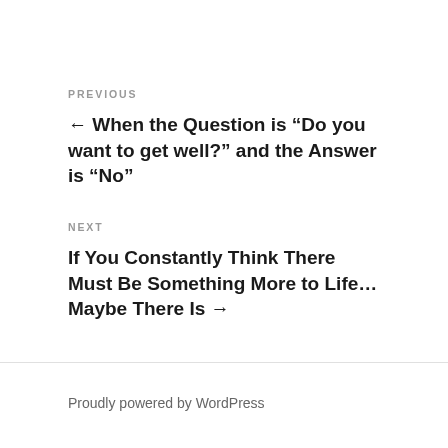PREVIOUS
← When the Question is “Do you want to get well?” and the Answer is “No”
NEXT
If You Constantly Think There Must Be Something More to Life…Maybe There Is →
Proudly powered by WordPress